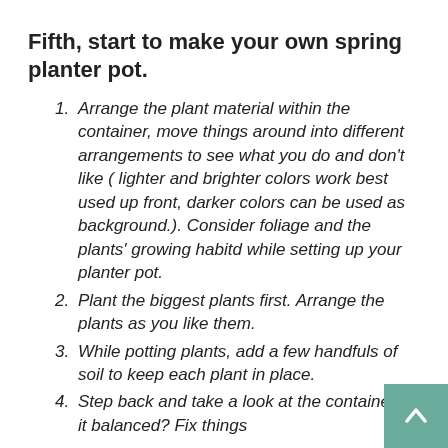Fifth, start to make your own spring planter pot.
Arrange the plant material within the container, move things around into different arrangements to see what you do and don't like ( lighter and brighter colors work best used up front, darker colors can be used as background.). Consider foliage and the plants' growing habitd while setting up your planter pot.
Plant the biggest plants first. Arrange the plants as you like them.
While potting plants, add a few handfuls of soil to keep each plant in place.
Step back and take a look at the container. Is it balanced? Fix things